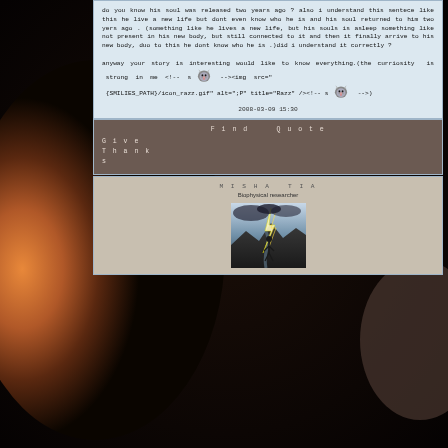do you know his soul was released two years ago ? also i understand this sentece like this he live a new life but dont even know who he is and his soul returned to him two yers ago . (something like he lives a new life, but his souls is asleep something like not present in his new body, but still connected to it and then it finally arrive to his new body, duo to this he dont know who he is .)did i understand it correctly ?

anyway your story is interesting would like to know everything.(the curriosity is strong in me <!-- s[wolf] --><img src="{SMILIES_PATH}/icon_razz.gif" alt=":P" title="Razz" /><!-- s[wolf] -->)
2008-03-09 15:30
Find   Quote
Give Thanks
MISHA TIA
Biophysical researcher
[Figure (photo): Avatar image showing a dramatic landscape with lightning and dark stormy sky over a winding river or road]